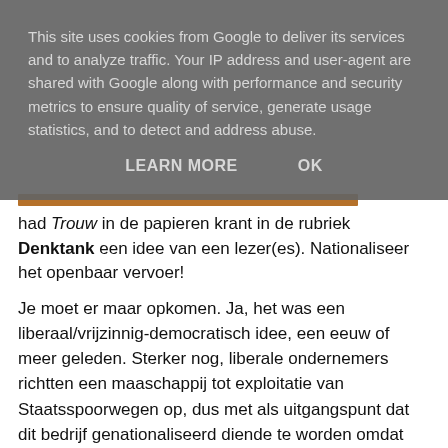This site uses cookies from Google to deliver its services and to analyze traffic. Your IP address and user-agent are shared with Google along with performance and security metrics to ensure quality of service, generate usage statistics, and to detect and address abuse.
LEARN MORE   OK
[Figure (other): Partial image with orange/brown horizontal bar, partially visible behind cookie overlay]
had Trouw in de papieren krant in de rubriek Denktank een idee van een lezer(es). Nationaliseer het openbaar vervoer!
Je moet er maar opkomen. Ja, het was een liberaal/vrijzinnig-democratisch idee, een eeuw of meer geleden. Sterker nog, liberale ondernemers richtten een maaschappij tot exploitatie van Staatsspoorwegen op, dus met als uitgangspunt dat dit bedrijf genationaliseerd diende te worden omdat het onzinnig is in deze sector net te doen of er te concurreren valt.
Maar vraag de gemiddelde persoon die zich heden liberaal noemt, of vrijzinnig-democraat, of desnoods sociaal-